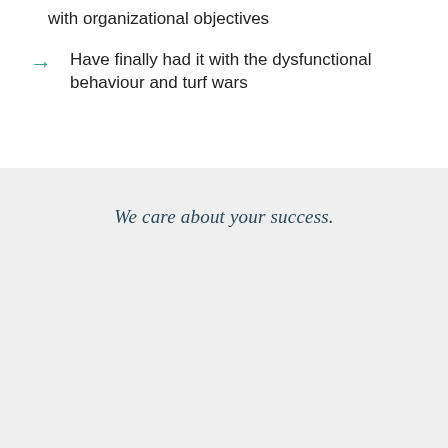with organizational objectives
Have finally had it with the dysfunctional behaviour and turf wars
We care about your success.
We listen and learn.